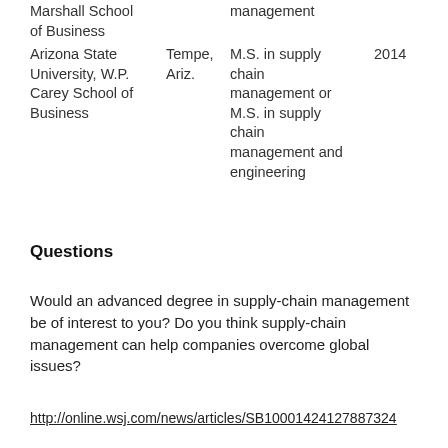| Institution | Location | Degree | Year |
| --- | --- | --- | --- |
| Marshall School of Business |  | management |  |
| Arizona State University, W.P. Carey School of Business | Tempe, Ariz. | M.S. in supply chain management or M.S. in supply chain management and engineering | 2014 |
Questions
Would an advanced degree in supply-chain management be of interest to you? Do you think supply-chain management can help companies overcome global issues?
http://online.wsj.com/news/articles/SB10001424127887324